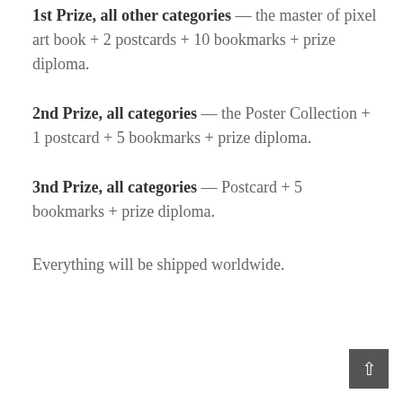1st Prize, all other categories — the master of pixel art book + 2 postcards + 10 bookmarks + prize diploma.
2nd Prize, all categories — the Poster Collection + 1 postcard + 5 bookmarks + prize diploma.
3nd Prize, all categories — Postcard + 5 bookmarks + prize diploma.
Everything will be shipped worldwide.